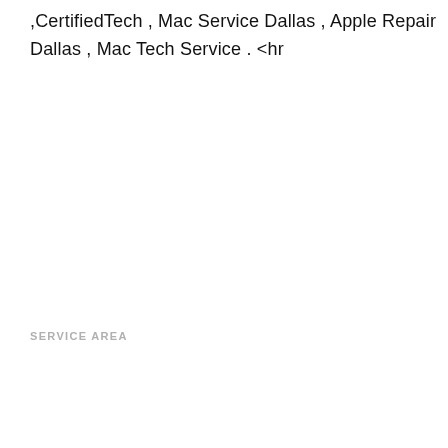,CertifiedTech , Mac Service Dallas , Apple Repair Dallas , Mac Tech Service . <hr
SERVICE AREA